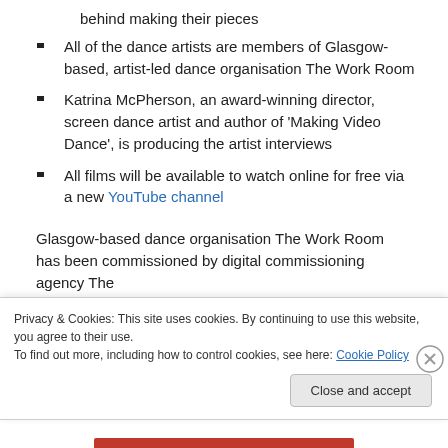behind making their pieces
All of the dance artists are members of Glasgow-based, artist-led dance organisation The Work Room
Katrina McPherson, an award-winning director, screen dance artist and author of 'Making Video Dance', is producing the artist interviews
All films will be available to watch online for free via a new YouTube channel
Glasgow-based dance organisation The Work Room has been commissioned by digital commissioning agency The
Privacy & Cookies: This site uses cookies. By continuing to use this website, you agree to their use.
To find out more, including how to control cookies, see here: Cookie Policy